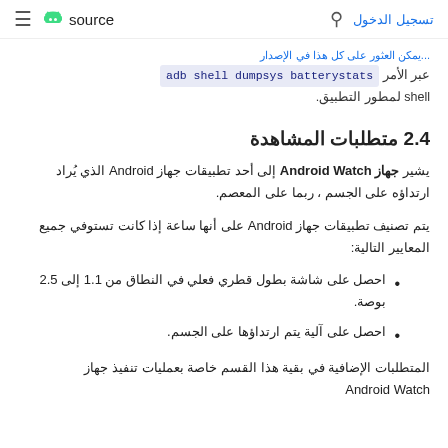source  [hamburger menu] [search] تسجيل الدخول
عبر الأمر adb shell dumpsys batterystats shell لمطور التطبيق.
2.4 متطلبات المشاهدة
يشير جهاز Android Watch إلى أحد تطبيقات جهاز Android الذي يُراد ارتداؤه على الجسم ، ربما على المعصم.
يتم تصنيف تطبيقات جهاز Android على أنها ساعة إذا كانت تستوفي جميع المعايير التالية:
احصل على شاشة بطول قطري فعلي في النطاق من 1.1 إلى 2.5 بوصة.
احصل على آلية يتم ارتداؤها على الجسم.
المتطلبات الإضافية في بقية هذا القسم خاصة بعمليات تنفيذ جهاز Android Watch